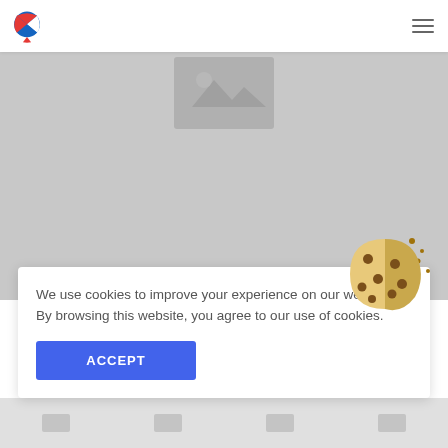Website header with logo and hamburger menu
[Figure (screenshot): Gray placeholder image area representing a webpage screenshot background]
We use cookies to improve your experience on our website. By browsing this website, you agree to our use of cookies.
ACCEPT